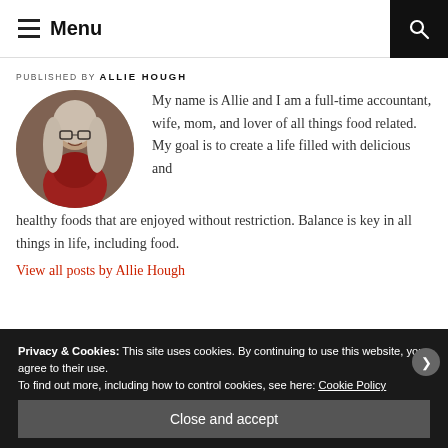≡ Menu
PUBLISHED BY ALLIE HOUGH
[Figure (photo): Circular portrait photo of Allie Hough, a woman with long blonde hair and glasses, wearing a red plaid shirt, smiling.]
My name is Allie and I am a full-time accountant, wife, mom, and lover of all things food related. My goal is to create a life filled with delicious and healthy foods that are enjoyed without restriction. Balance is key in all things in life, including food.
View all posts by Allie Hough
Privacy & Cookies: This site uses cookies. By continuing to use this website, you agree to their use.
To find out more, including how to control cookies, see here: Cookie Policy
Close and accept